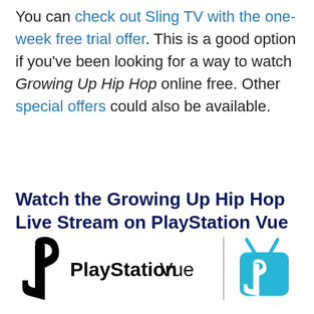You can check out Sling TV with the one-week free trial offer. This is a good option if you've been looking for a way to watch Growing Up Hip Hop online free. Other special offers could also be available.
Watch the Growing Up Hip Hop Live Stream on PlayStation Vue
[Figure (logo): PlayStation Vue logo with PlayStation symbol and a blue TV icon with antennae]